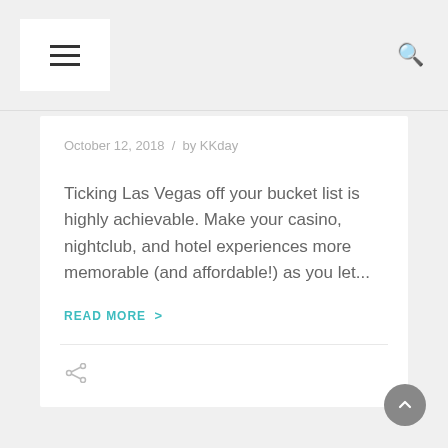≡  [hamburger menu] / [search icon]
October 12, 2018  /  by KKday
Ticking Las Vegas off your bucket list is highly achievable. Make your casino, nightclub, and hotel experiences more memorable (and affordable!) as you let...
READ MORE  >
[share icon]